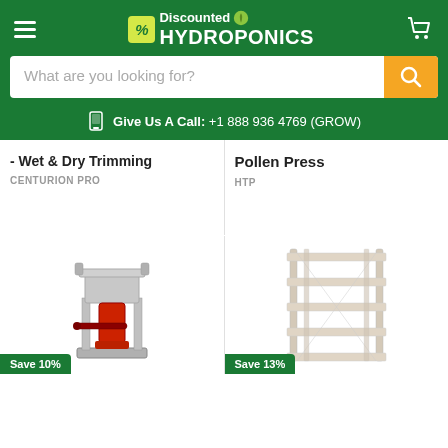Discounted Hydroponics - Give Us A Call: +1 888 936 4769 (GROW)
What are you looking for?
Give Us A Call: +1 888 936 4769 (GROW)
- Wet & Dry Trimming
CENTURION PRO
Pollen Press
HTP
[Figure (photo): Pollen press machine - metal hydraulic press with red handle on stand]
Save 10%
[Figure (photo): White/light grey 5-tier wire shelving rack unit]
Save 13%